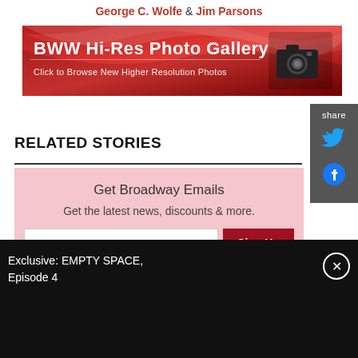George C. Wolfe & Jim Parsons
[Figure (screenshot): BWW Hi-Res Photo Gallery banner with red wave design and camera icon. Text: 'BWW Hi-Res Photo Gallery' and 'Click to Browse New Higher Resolution Photos']
RELATED STORIES
Get Broadway Emails
Get the latest news, discounts & more.
E-mail address   Sign Up
Exclusive: EMPTY SPACE, Episode 4